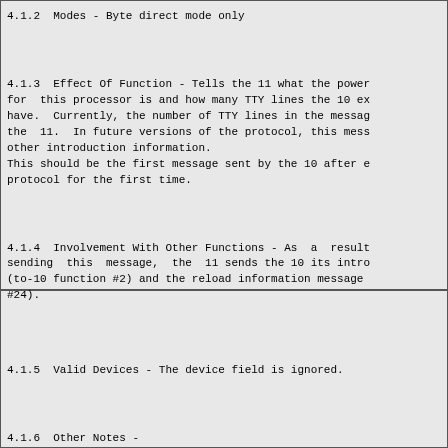4.1.2  Modes - Byte direct mode only
4.1.3  Effect Of Function - Tells the 11 what the power for  this processor is and how many TTY lines the 10 ex have.  Currently, the number of TTY lines in the messag the  11.  In future versions of the protocol, this mess other introduction information.
This should be the first message sent by the 10 after e protocol for the first time.
4.1.4  Involvement With Other Functions - As  a  result sending  this  message,  the  11 sends the 10 its intro (to-10 function #2) and the reload information message  #24).
4.1.5  Valid Devices - The device field is ignored.
4.1.6  Other Notes -